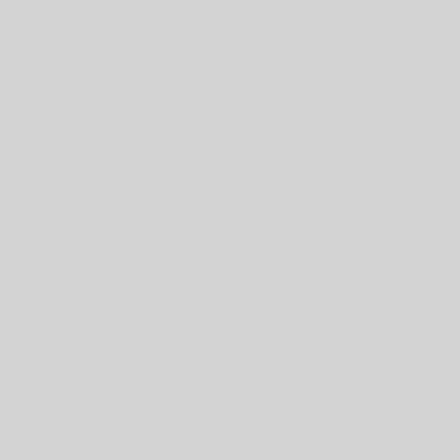| Field | Value |
| --- | --- |
| Binary: | veccore-dev |
| vec (section header) |  |
| Source: | vecgeom |
| Maintainer: | Debian Science M... maintainers@lists... |
| Uploaders: | Stephan Lachnit <... |
| Binary: | libvecgeom-dev |
| Binary: | libvecgeom1.2 |
| Binary: | libvgdml-dev |